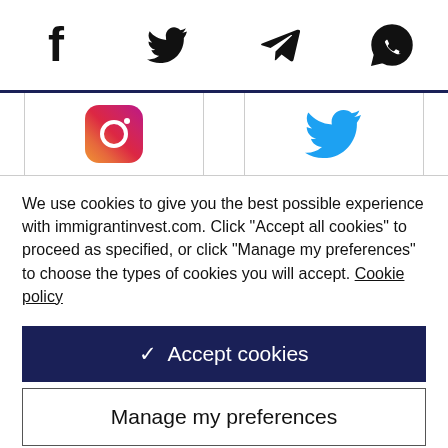Social media share icons: Facebook, Twitter, Telegram, WhatsApp
[Figure (screenshot): Two social media icons in table row: Instagram (pink/red gradient camera logo) and Twitter (blue bird logo)]
We use cookies to give you the best possible experience with immigrantinvest.com. Click "Accept all cookies" to proceed as specified, or click "Manage my preferences" to choose the types of cookies you will accept. Cookie policy
✓ Accept cookies
Manage my preferences